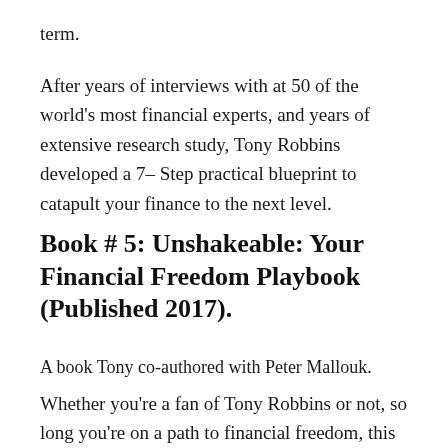term.
After years of interviews with at 50 of the world's most financial experts, and years of extensive research study, Tony Robbins developed a 7– Step practical blueprint to catapult your finance to the next level.
Book # 5: Unshakeable: Your Financial Freedom Playbook (Published 2017).
A book Tony co-authored with Peter Mallouk.
Whether you're a fan of Tony Robbins or not, so long you're on a path to financial freedom, this sure is the best piece you will have stumbled upon in a while.